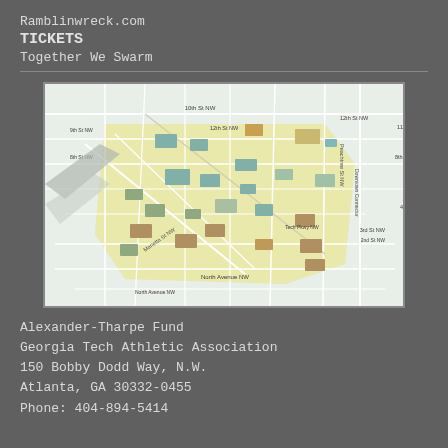Ramblinwreck.com
TICKETS
Together We Swarm
[Figure (map): Campus map of Georgia Tech area in Atlanta, showing street grid including 10th St NW, 8th St NW, North Avenue NW, Tech Pkwy NW, Marietta St NW, Peachtree St NW, and Downtown Connector. Campus buildings shown in shades of yellow, teal, and brown.]
Alexander-Tharpe Fund
Georgia Tech Athletic Association
150 Bobby Dodd Way, N.W.
Atlanta, GA 30332-0455
Phone: 404-894-5414